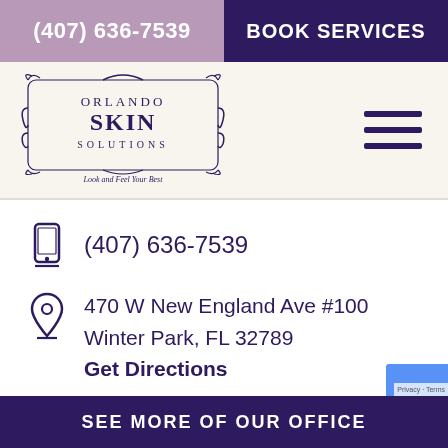(407) 636-7539
BOOK SERVICES
[Figure (logo): Orlando Skin Solutions logo with decorative scrollwork border and tagline 'Look and Feel Your Best']
(407) 636-7539
470 W New England Ave #100
Winter Park, FL 32789
Get Directions
SEE MORE OF OUR OFFICE